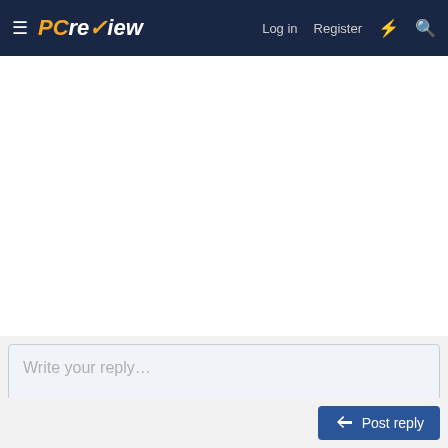≡ PCreview   Log in   Register   ⚡   🔍
Write your reply...
Post reply